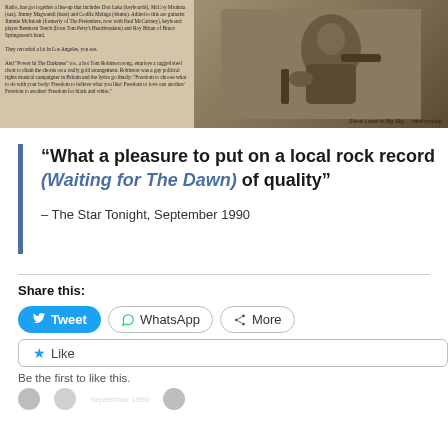[Figure (photo): Scanned newspaper clipping with two columns of small text on the left and a black-and-white photograph of a guitarist on the right. Caption reads: Steve Lowe of Big Sky... hard rocking]
“What a pleasure to put on a local rock record (Waiting for The Dawn) of quality”
– The Star Tonight, September 1990
Share this:
Tweet
WhatsApp
More
Like
Be the first to like this.